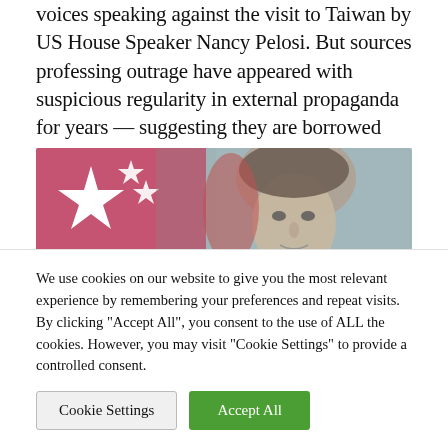voices speaking against the visit to Taiwan by US House Speaker Nancy Pelosi. But sources professing outrage have appeared with suspicious regularity in external propaganda for years — suggesting they are borrowed voices speaking the CCP's convictions.
[Figure (photo): Photo of Nancy Pelosi with a stylized pink/red star flag in the background on a light blue toned graphic]
We use cookies on our website to give you the most relevant experience by remembering your preferences and repeat visits. By clicking "Accept All", you consent to the use of ALL the cookies. However, you may visit "Cookie Settings" to provide a controlled consent.